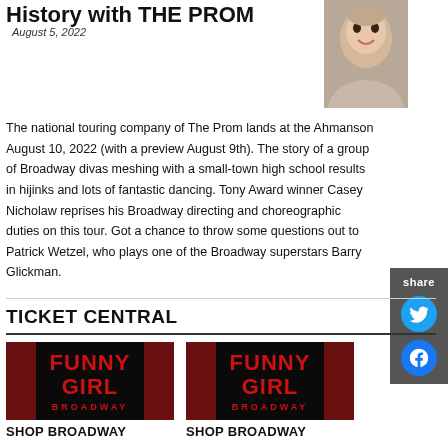History with THE PROM
August 5, 2022
[Figure (photo): Headshot photo of a smiling man, Patrick Wetzel]
The national touring company of The Prom lands at the Ahmanson August 10, 2022 (with a preview August 9th). The story of a group of Broadway divas meshing with a small-town high school results in hijinks and lots of fantastic dancing. Tony Award winner Casey Nicholaw reprises his Broadway directing and choreographic duties on this tour. Got a chance to throw some questions out to Patrick Wetzel, who plays one of the Broadway superstars Barry Glickman.
TICKET CENTRAL
[Figure (illustration): Funny Girl Broadway logo/poster - red text on dark curtain background]
[Figure (illustration): Funny Girl Broadway logo/poster - red text on dark curtain background (second)]
SHOP BROADWAY
SHOP BROADWAY
HAMILTON
INTO THE WOODS